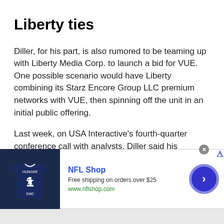Liberty ties
Diller, for his part, is also rumored to be teaming up with Liberty Media Corp. to launch a bid for VUE. One possible scenario would have Liberty combining its Starz Encore Group LLC premium networks with VUE, then spinning off the unit in an initial public offering.
Last week, on USA Interactive's fourth-quarter conference call with analysts, Diller said his company is working with Vivendi to find a solution to the VUE partnership.
[Figure (infographic): NFL Shop advertisement banner with a Dallas Cowboys jersey image, showing 'Free shipping on orders over $25' and 'www.nflshop.com', with a blue circular arrow button on the right.]